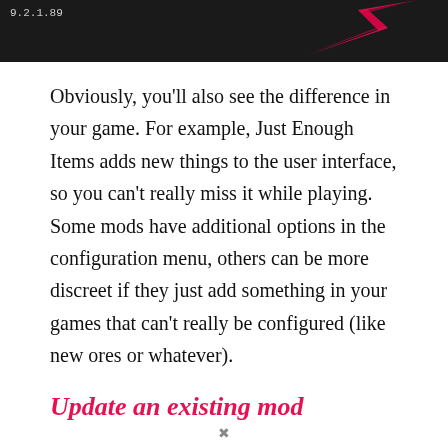[Figure (screenshot): Dark game screenshot showing version number 9.2.1.89 in top-left corner and a pink/red arrow shape on the right side]
Obviously, you'll also see the difference in your game. For example, Just Enough Items adds new things to the user interface, so you can't really miss it while playing. Some mods have additional options in the configuration menu, others can be more discreet if they just add something in your games that can't really be configured (like new ores or whatever).
Update an existing mod